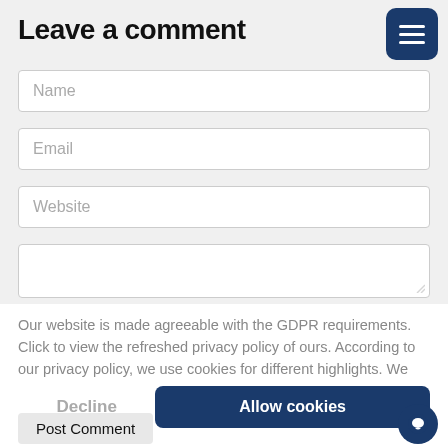Leave a comment
[Figure (screenshot): Menu icon button (three horizontal lines) on dark blue rounded square background, top right corner]
Name
Email
Website
Our website is made agreeable with the GDPR requirements. Click to view the refreshed privacy policy of ours. According to our privacy policy, we use cookies for different highlights. We trust that is alright, If you disagree, disable the cookies.  Privacy policy
Decline
Allow cookies
Post Comment